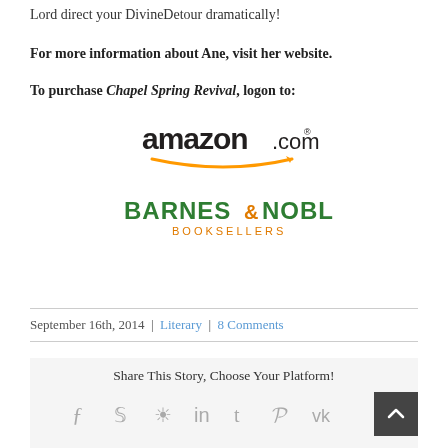Lord direct your DivineDetour dramatically!
For more information about Ane, visit her website.
To purchase Chapel Spring Revival, logon to:
[Figure (logo): Amazon.com logo with orange swoosh]
[Figure (logo): Barnes & Noble Booksellers logo in green and orange]
September 16th, 2014 | Literary | 8 Comments
Share This Story, Choose Your Platform!
[Figure (infographic): Social sharing icons: Facebook, Twitter, Reddit, LinkedIn, Tumblr, Pinterest, VK]